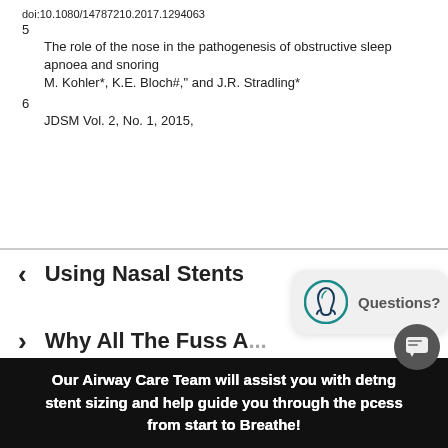doi:10.1080/14787210.2017.1294063
5 The role of the nose in the pathogenesis of obstructive sleep apnoea and snoring M. Kohler*, K.E. Bloch#," and J.R. Stradling*
6 JDSM Vol. 2, No. 1, 2015,
< Using Nasal Stents
> Why All The Fuss A...
[Figure (logo): Chat widget with teal nose/airway logo icon and 'Questions?' text on light gray rounded background]
Our Airway Care Team will assist you with determining stent sizing and help guide you through the process from start to Breathe!